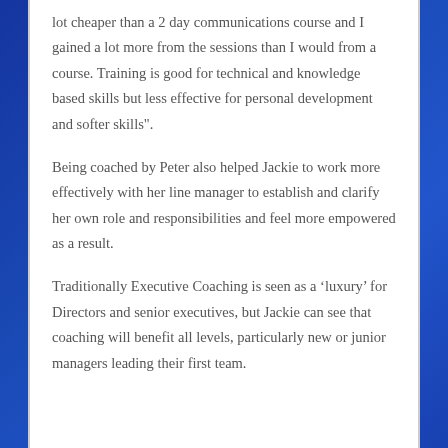lot cheaper than a 2 day communications course and I gained a lot more from the sessions than I would from a course. Training is good for technical and knowledge based skills but less effective for personal development and softer skills".
Being coached by Peter also helped Jackie to work more effectively with her line manager to establish and clarify her own role and responsibilities and feel more empowered as a result.
Traditionally Executive Coaching is seen as a ‘luxury’ for Directors and senior executives, but Jackie can see that coaching will benefit all levels, particularly new or junior managers leading their first team.